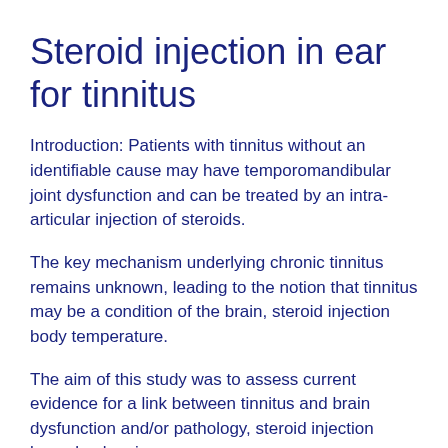Steroid injection in ear for tinnitus
Introduction: Patients with tinnitus without an identifiable cause may have temporomandibular joint dysfunction and can be treated by an intra-articular injection of steroids.
The key mechanism underlying chronic tinnitus remains unknown, leading to the notion that tinnitus may be a condition of the brain, steroid injection body temperature.
The aim of this study was to assess current evidence for a link between tinnitus and brain dysfunction and/or pathology, steroid injection lower back pain.